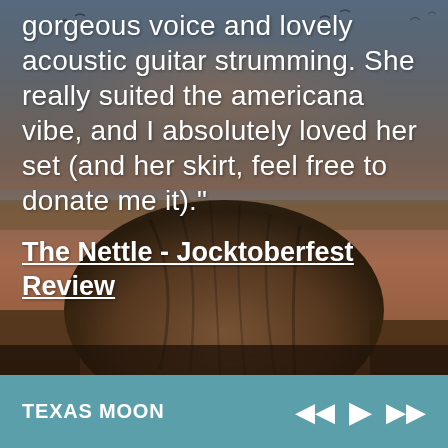[Figure (photo): Background photo of a large driftwood tree stump on a shoreline at sunset/dusk, with golden-brown reeds and a reddish-purple sky with birds in the distance.]
gorgeous voice and lovely acoustic guitar strumming. She really suited the americana vibe, and I absolutely loved her set (and her skirt, feel free to donate me it)."
The Nettle - Jocktoberfest Review
TEXAS MOON